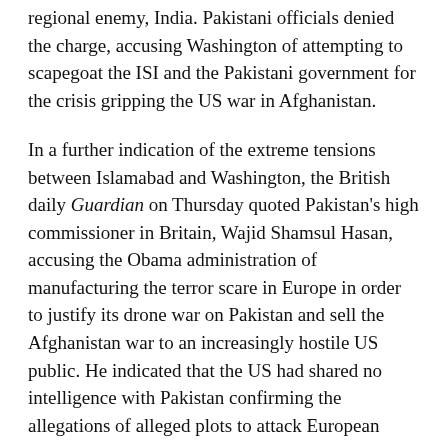regional enemy, India. Pakistani officials denied the charge, accusing Washington of attempting to scapegoat the ISI and the Pakistani government for the crisis gripping the US war in Afghanistan.
In a further indication of the extreme tensions between Islamabad and Washington, the British daily Guardian on Thursday quoted Pakistan's high commissioner in Britain, Wajid Shamsul Hasan, accusing the Obama administration of manufacturing the terror scare in Europe in order to justify its drone war on Pakistan and sell the Afghanistan war to an increasingly hostile US public. He indicated that the US had shared no intelligence with Pakistan confirming the allegations of alleged plots to attack European targets.
Hasan added that the US attacks were destabilizing Pakistan and leading to growing popular anger that he